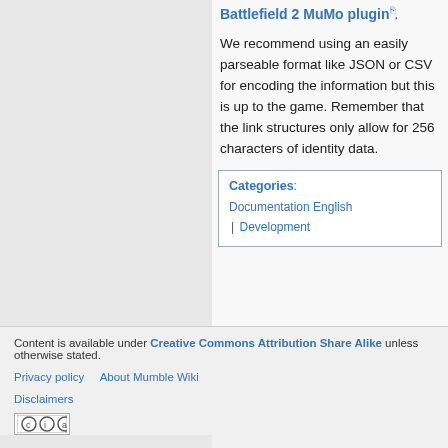Battlefield 2 MuMo plugin.
We recommend using an easily parseable format like JSON or CSV for encoding the information but this is up to the game. Remember that the link structures only allow for 256 characters of identity data.
Categories: Documentation English | Development
Content is available under Creative Commons Attribution Share Alike unless otherwise noted.

Privacy policy   About Mumble Wiki

Disclaimers